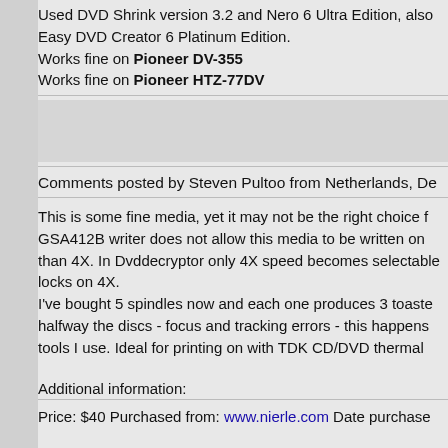Used DVD Shrink version 3.2 and Nero 6 Ultra Edition, also Easy DVD Creator 6 Platinum Edition.
Works fine on Pioneer DV-355
Works fine on Pioneer HTZ-77DV
Comments posted by Steven Pultoo from Netherlands, De...
This is some fine media, yet it may not be the right choice f... GSA412B writer does not allow this media to be written on... than 4X. In Dvddecryptor only 4X speed becomes selectable... locks on 4X.
I've bought 5 spindles now and each one produces 3 toaste... halfway the discs - focus and tracking errors - this happens... tools I use. Ideal for printing on with TDK CD/DVD thermal...
Additional information:
Price: $40 Purchased from: www.nierle.com Date purchased...